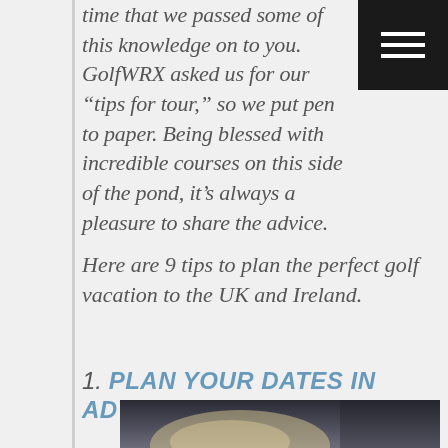time that we passed some of this knowledge on to you. GolfWRX asked us for our “tips for tour,” so we put pen to paper. Being blessed with incredible courses on this side of the pond, it’s always a pleasure to share the advice.
Here are 9 tips to plan the perfect golf vacation to the UK and Ireland.
1. PLAN YOUR DATES IN ADVANCE
[Figure (photo): Coastal golf course landscape with rocky cliffs and ocean view under dramatic sky]